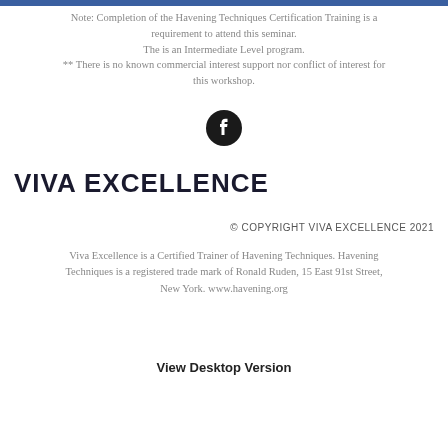Note: Completion of the Havening Techniques Certification Training is a requirement to attend this seminar.
The is an Intermediate Level program.
** There is no known commercial interest support nor conflict of interest for this workshop.
[Figure (logo): Facebook logo icon in dark circle]
VIVA EXCELLENCE
© COPYRIGHT VIVA EXCELLENCE 2021
Viva Excellence is a Certified Trainer of Havening Techniques. Havening Techniques is a registered trade mark of Ronald Ruden, 15 East 91st Street, New York. www.havening.org
View Desktop Version